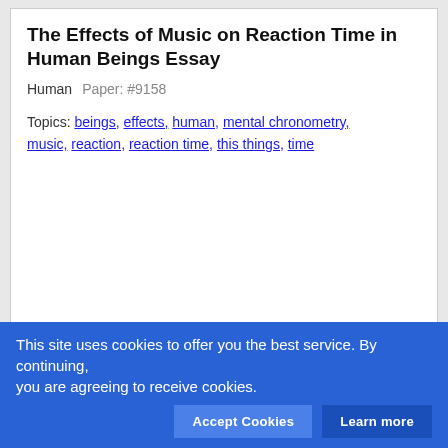The Effects of Music on Reaction Time in Human Beings Essay
Human    Paper: #9158
Topics: beings, effects, human, mental chronometry, music, reaction, reaction time, this things, time
chronometry, music, reaction, response, which, ko, Vojko Strojnik, Mateja VidemEŸek, and Damir Karpljuk in Feb 2009 showcased this point. The goal of the test was to display the effects of music on response time, in thisko) These results, whilst exactly decisive towards the aim of this try things out, demonstrate that music does the truth [...]
This site uses cookies to offer you the best service. By continuing, you are agreeing to receive cookies.